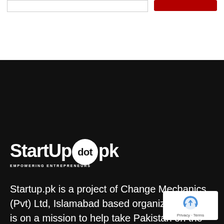[Figure (logo): StartUp dot pk logo — white text on black background with 'dot' in a white circle]
Startup.pk is a project of Change Mechanics (Pvt) Ltd, Islamabad based organization that is on a mission to help take Pakistan on the road to economic prosperity by helping Pakistani entrepreneurs launch and scale successful businesses.